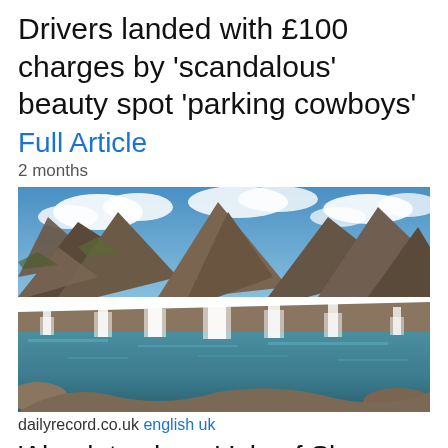Drivers landed with £100 charges by 'scandalous' beauty spot 'parking cowboys'
Full Article
2 months
[Figure (photo): Scenic landscape photo of the Fairy Pools on the Isle of Skye, Scotland — multiple small waterfalls cascading into clear turquoise pools, with rugged brown mountains and a blue sky with white clouds in the background.]
dailyrecord.co.uk english uk
'Absolute chaos' Isle of Skye beauty